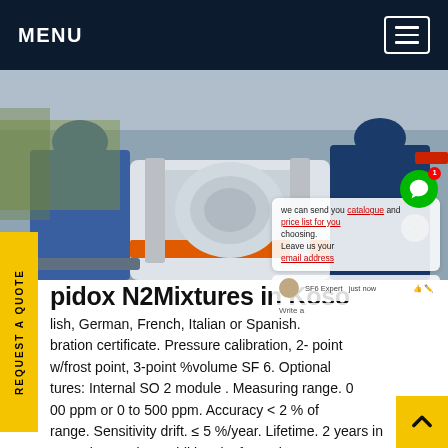MENU
[Figure (photo): Two workers in blue overalls working on large industrial gas equipment / pipes with orange banding, industrial facility background.]
Rapidox N2Mixtures in Kosovo
lish, German, French, Italian or Spanish. bration certificate. Pressure calibration, 2-point w/frost point, 3-point %volume SF 6. Optional tures: Internal SO 2 module . Measuring range. 0 00 ppm or 0 to 500 ppm. Accuracy < 2 % of range. Sensitivity drift. ≤ 5 %/year. Lifetime. 2 years in normal operation. Additional Information: Pump pressure maximumGet price